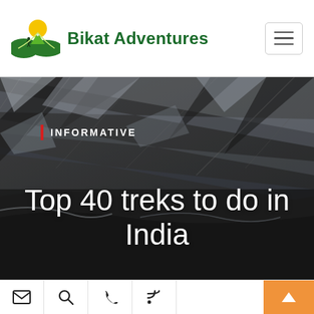Bikat Adventures
[Figure (photo): Rocky mountain cliff face with snow/ice on rocks, dark grey stone texture — hero background image for travel/trekking website]
INFORMATIVE
Top 40 treks to do in India
Mail | Search | Phone | RSS — scroll to top button